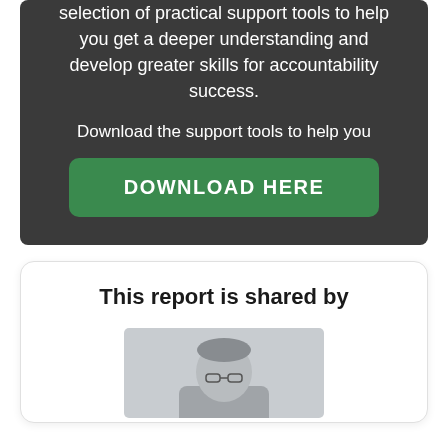selection of practical support tools to help you get a deeper understanding and develop greater skills for accountability success.
Download the support tools to help you
DOWNLOAD HERE
This report is shared by
[Figure (photo): Partial photo of a person with grey hair and glasses, visible from approximately the shoulders up, cropped at bottom of frame.]